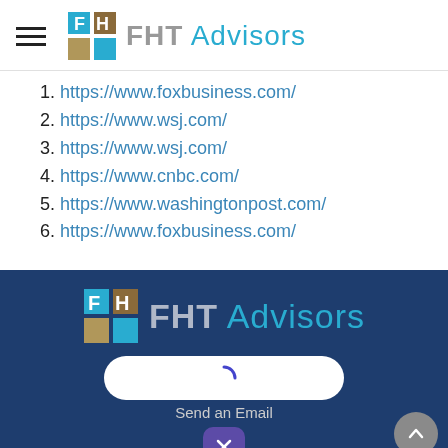FHT Advisors
1. https://www.foxbusiness.com/
2. https://www.wsj.com/
3. https://www.wsj.com/
4. https://www.cnbc.com/
5. https://www.washingtonpost.com/
6. https://www.foxbusiness.com/
[Figure (logo): FHT Advisors logo in footer with grid icon]
Send an Email